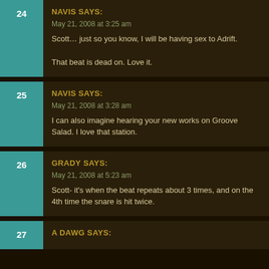24 NAVIS SAYS: May 21, 2008 at 3:25 am Scott… just so you know, I will be having sex to Adrift. That beat is dead on. Love it.
25 NAVIS SAYS: May 21, 2008 at 3:28 am I can also imagine hearing your new works on Groove Salad. I love that station.
26 GRADY SAYS: May 21, 2008 at 5:23 am Scott- it's when the beat repeats about 3 times, and on the 4th time the snare is hit twice.
27 A DAWG SAYS: